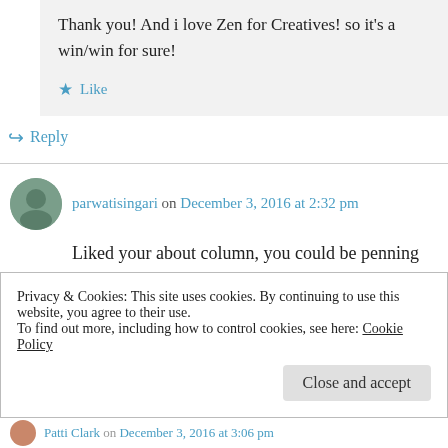Thank you! And i love Zen for Creatives! so it's a win/win for sure!
★ Like
↳ Reply
parwatisingari on December 3, 2016 at 2:32 pm
Liked your about column, you could be penning my thoughts. Thanks for the follow.
Privacy & Cookies: This site uses cookies. By continuing to use this website, you agree to their use.
To find out more, including how to control cookies, see here: Cookie Policy
Close and accept
Patti Clark on December 3, 2016 at 3:06 pm